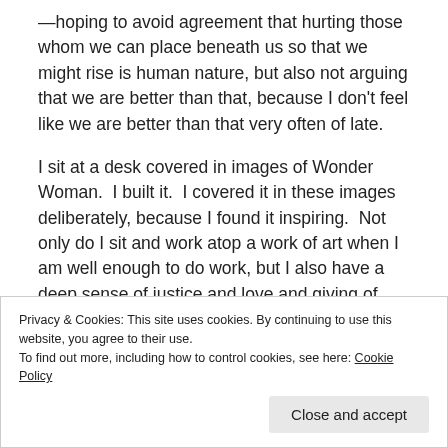—hoping to avoid agreement that hurting those whom we can place beneath us so that we might rise is human nature, but also not arguing that we are better than that, because I don't feel like we are better than that very often of late.
I sit at a desk covered in images of Wonder Woman.  I built it.  I covered it in these images deliberately, because I found it inspiring.  Not only do I sit and work atop a work of art when I am well enough to do work, but I also have a deep sense of justice and love and giving of myself to improve the state of the world, and she
Privacy & Cookies: This site uses cookies. By continuing to use this website, you agree to their use.
To find out more, including how to control cookies, see here: Cookie Policy
Close and accept